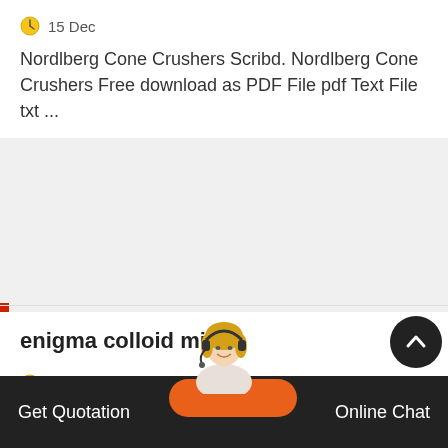15 Dec
Nordlberg Cone Crushers Scribd. Nordlberg Cone Crushers Free download as PDF File pdf Text File txt ...
enigma colloid mill
22 Dec
Buy cheap colloid mill online. Want cheap colloid mill? We have 2021 new colloid mill products on sale. Pric.
jaw crusher prices
Get Quotation   Online Chat